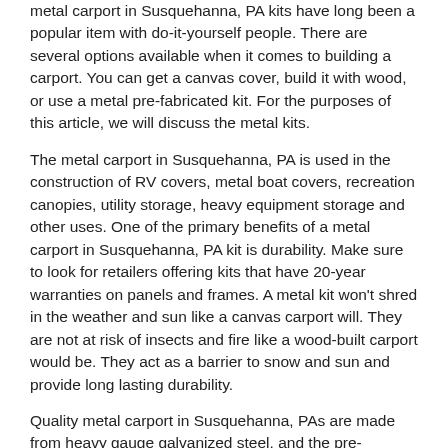metal carport in Susquehanna, PA kits have long been a popular item with do-it-yourself people. There are several options available when it comes to building a carport. You can get a canvas cover, build it with wood, or use a metal pre-fabricated kit. For the purposes of this article, we will discuss the metal kits.
The metal carport in Susquehanna, PA is used in the construction of RV covers, metal boat covers, recreation canopies, utility storage, heavy equipment storage and other uses. One of the primary benefits of a metal carport in Susquehanna, PA kit is durability. Make sure to look for retailers offering kits that have 20-year warranties on panels and frames. A metal kit won't shred in the weather and sun like a canvas carport will. They are not at risk of insects and fire like a wood-built carport would be. They act as a barrier to snow and sun and provide long lasting durability.
Quality metal carport in Susquehanna, PAs are made from heavy gauge galvanized steel, and the pre-engineered steel carports can be shipped to customers anywhere in the United States. metal carport in Susquehanna, PA. The metal carport in Susquehanna, PA kits are offered at an economical price when compared with other building methods. Typically, they are more inexpensive than would be a wood structure - especially when you consider the life of the carport.